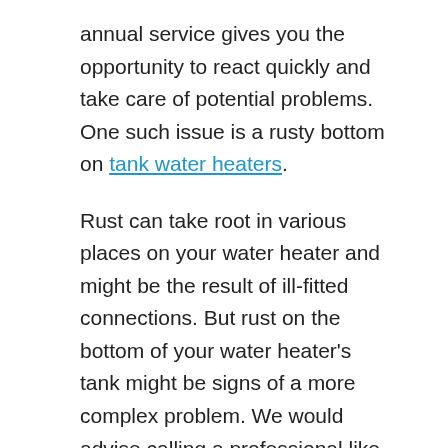annual service gives you the opportunity to react quickly and take care of potential problems. One such issue is a rusty bottom on tank water heaters.
Rust can take root in various places on your water heater and might be the result of ill-fitted connections. But rust on the bottom of your water heater's tank might be signs of a more complex problem. We would advise calling a professional like Bryant Heating & Cooling Service Experts to determine if the tank's interior liner has degraded. This happens after the anode rod fails. When working as usual, the anode rod pushes out impurities from the water.